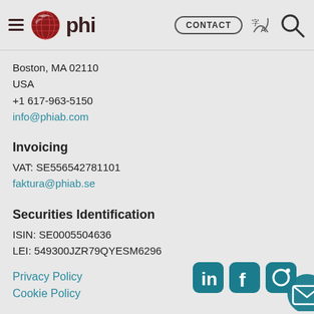PHI — CONTACT | translate | search
Boston, MA 02110
USA
+1 617-963-5150
info@phiab.com
Invoicing
VAT: SE556542781101
faktura@phiab.se
Securities Identification
ISIN: SE0005504636
LEI: 549300JZR79QYESM6296
Privacy Policy
Cookie Policy
[Figure (logo): Social media icons: LinkedIn, Facebook, Instagram, Email]